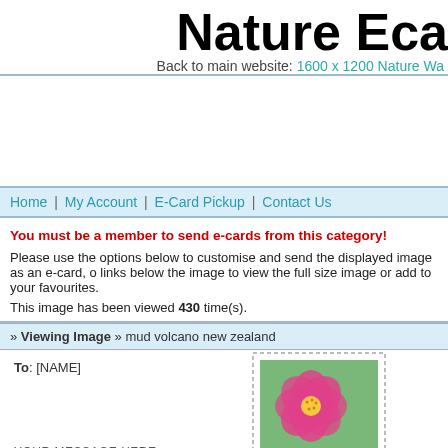Nature Eca
Back to main website: 1600 x 1200 Nature Wa
Home | My Account | E-Card Pickup | Contact Us
You must be a member to send e-cards from this category!
Please use the options below to customise and send the displayed image as an e-card, o links below the image to view the full size image or add to your favourites.
This image has been viewed 430 time(s).
» Viewing Image » mud volcano new zealand
To: [NAME]
YOUR MESSAGE HERE..
[Figure (photo): Pink water lily / lotus flower, stamp-style with dotted border]
[Figure (photo): Mud volcano in New Zealand, partially visible on right side]